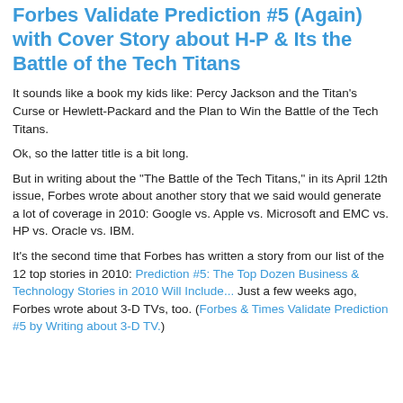Forbes Validate Prediction #5 (Again) with Cover Story about H-P & Its the Battle of the Tech Titans
It sounds like a book my kids like: Percy Jackson and the Titan's Curse or Hewlett-Packard and the Plan to Win the Battle of the Tech Titans.
Ok, so the latter title is a bit long.
But in writing about the "The Battle of the Tech Titans," in its April 12th issue, Forbes wrote about another story that we said would generate a lot of coverage in 2010: Google vs. Apple vs. Microsoft and EMC vs. HP vs. Oracle vs. IBM.
It's the second time that Forbes has written a story from our list of the 12 top stories in 2010: Prediction #5: The Top Dozen Business & Technology Stories in 2010 Will Include... Just a few weeks ago, Forbes wrote about 3-D TVs, too. (Forbes & Times Validate Prediction #5 by Writing about 3-D TV.)